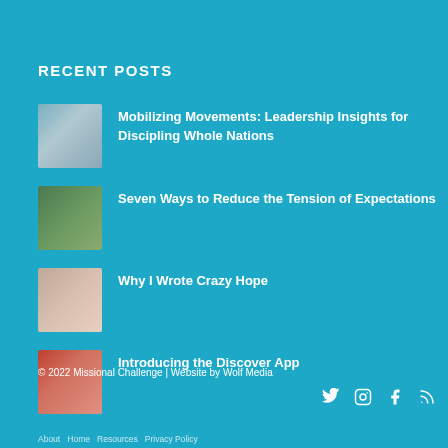RECENT POSTS
Mobilizing Movements: Leadership Insights for Discipling Whole Nations
Seven Ways to Reduce the Tension of Expectations
Why I Wrote Crazy Hope
Introducing the Discover App
© 2022 Missional Challenge | Website by Wolf Media